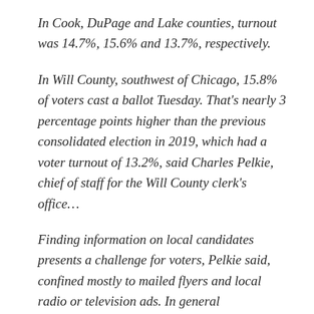In Cook, DuPage and Lake counties, turnout was 14.7%, 15.6% and 13.7%, respectively.
In Will County, southwest of Chicago, 15.8% of voters cast a ballot Tuesday. That's nearly 3 percentage points higher than the previous consolidated election in 2019, which had a voter turnout of 13.2%, said Charles Pelkie, chief of staff for the Will County clerk's office…
Finding information on local candidates presents a challenge for voters, Pelkie said, confined mostly to mailed flyers and local radio or television ads. In general